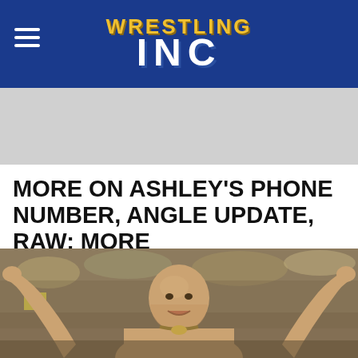Wrestling Inc
MORE ON ASHLEY'S PHONE NUMBER, ANGLE UPDATE, RAW; MORE
[Figure (photo): Bald muscular wrestler with arms raised in celebration, crowd visible in background]